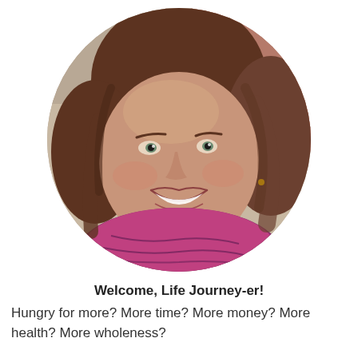[Figure (photo): Circular portrait photo of a smiling woman with brown hair wearing a colorful pink/purple scarf, photographed outdoors]
Welcome, Life Journey-er!
Hungry for more?  More time?  More money?  More health?  More wholeness?